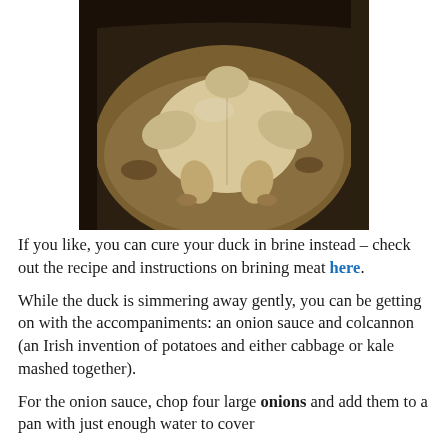[Figure (photo): A whole raw duck or chicken in a large metal pot with liquid and aromatics, viewed from above.]
If you like, you can cure your duck in brine instead – check out the recipe and instructions on brining meat here.
While the duck is simmering away gently, you can be getting on with the accompaniments: an onion sauce and colcannon (an Irish invention of potatoes and either cabbage or kale mashed together).
For the onion sauce, chop four large onions and add them to a pan with just enough water to cover